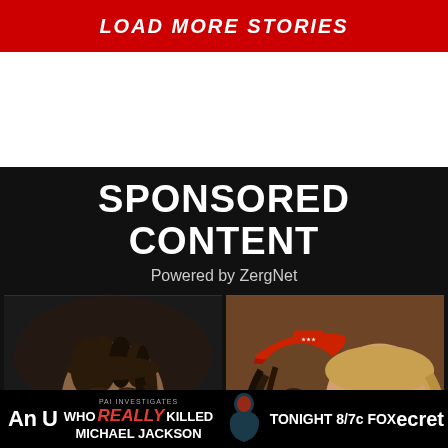[Figure (screenshot): Red banner button with white italic bold text reading LOAD MORE STORIES]
SPONSORED CONTENT
Powered by ZergNet
[Figure (photo): Left photo: close-up face of a young Black woman with dreadlocks wearing a sports jersey. Right photo: two people kissing, one wearing a red cap.]
[Figure (screenshot): Bottom advertisement banner: text 'An U' on left, center shows 'PAI Investigates: WHO REALLY KILLED MICHAEL JACKSON', 'TONIGHT 8/7c FOX' and partial text 'ecret' on right]